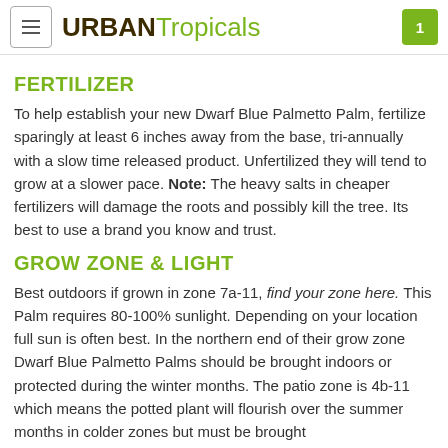URBAN Tropicals
FERTILIZER
To help establish your new Dwarf Blue Palmetto Palm, fertilize sparingly at least 6 inches away from the base, tri-annually with a slow time released product. Unfertilized they will tend to grow at a slower pace. Note: The heavy salts in cheaper fertilizers will damage the roots and possibly kill the tree. Its best to use a brand you know and trust.
GROW ZONE & LIGHT
Best outdoors if grown in zone 7a-11, find your zone here. This Palm requires 80-100% sunlight. Depending on your location full sun is often best. In the northern end of their grow zone Dwarf Blue Palmetto Palms should be brought indoors or protected during the winter months. The patio zone is 4b-11 which means the potted plant will flourish over the summer months in colder zones but must be brought